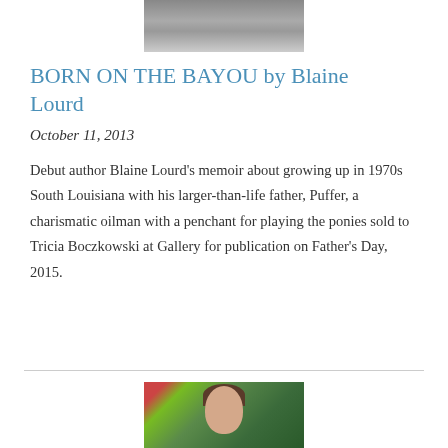[Figure (photo): Partial photo of a person in a suit, cropped at the top of the page]
BORN ON THE BAYOU by Blaine Lourd
October 11, 2013
Debut author Blaine Lourd's memoir about growing up in 1970s South Louisiana with his larger-than-life father, Puffer, a charismatic oilman with a penchant for playing the ponies sold to Tricia Boczkowski at Gallery for publication on Father's Day, 2015.
[Figure (photo): Photo of a woman with short dark hair outdoors with green foliage and red berries in the background]